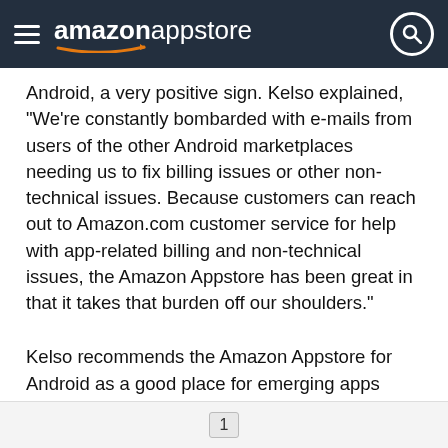amazon appstore
Android, a very positive sign. Kelso explained, "We're constantly bombarded with e-mails from users of the other Android marketplaces needing us to fix billing issues or other non-technical issues. Because customers can reach out to Amazon.com customer service for help with app-related billing and non-technical issues, the Amazon Appstore has been great in that it takes that burden off our shoulders."
Kelso recommends the Amazon Appstore for Android as a good place for emerging apps “because it’s difficult to get separation in most segments these days. Amazon is big enough to help gain traction in the market.” He added, “The most important thing that we've learned is probably that your app could be discovered any day.”
Permalink | Share   f  t    1